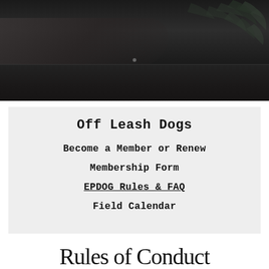[Figure (photo): Dark moody photograph showing a person with floral/leaf patterned clothing resting on a dark wooden surface, viewed from above. Background is very dark with botanical patterns visible.]
Off Leash Dogs
Become a Member or Renew
Membership Form
EPDOG Rules & FAQ
Field Calendar
Rules of Conduct